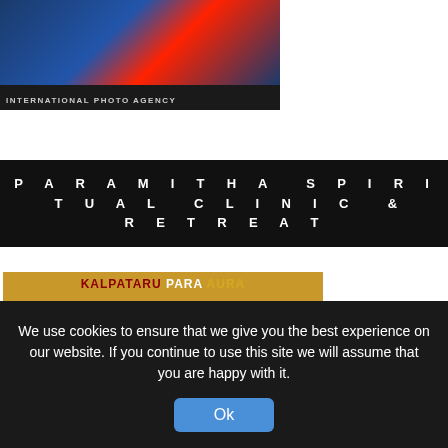[Figure (photo): Top portion of a racing car photo with Red Bull branding and a dark blue vehicle, with 'INTERNATIONAL PHOTO AGENCY' watermark at the bottom]
PARAMITHA SPIRITUAL CLINIC & RETREAT
[Figure (illustration): Kalpataru Para Aura spiritual retreat advertisement showing a Balinese/Javanese traditional wayang puppet artwork on the left and golden background text on the right reading 'REMEMBER YOU ARE THE CHOSEN ONE! The number one educational system for the 21st century.']
We use cookies to ensure that we give you the best experience on our website. If you continue to use this site we will assume that you are happy with it.